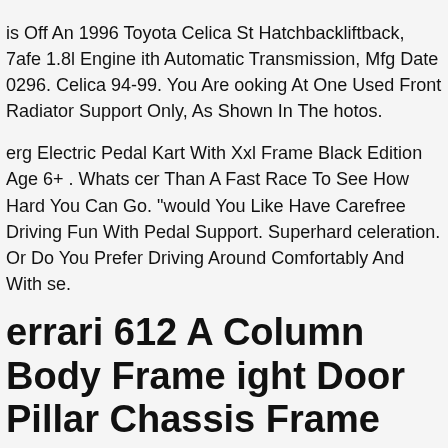is Off An 1996 Toyota Celica St Hatchbackliftback, 7afe 1.8l Engine ith Automatic Transmission, Mfg Date 0296. Celica 94-99. You Are ooking At One Used Front Radiator Support Only, As Shown In The hotos.
erg Electric Pedal Kart With Xxl Frame Black Edition Age 6+ . Whats cer Than A Fast Race To See How Hard You Can Go. "would You Like Have Carefree Driving Fun With Pedal Support. Superhard celeration. Or Do You Prefer Driving Around Comfortably And With se.
errari 612 A Column Body Frame ight Door Pillar Chassis Frame
eated With Donkey - Templates For Ebay Sellers Send Us A Message eated With Donkey - Templates For Ebay Sellers Our Store Seller ofile Reviews Save Store Contact Original Ferrari 612 Scaglietti A- llar Body Frame Front Right Rh Front Door Pillar Chassis Frame Part umber Part.no 985213755 Description Condition As New With Signs